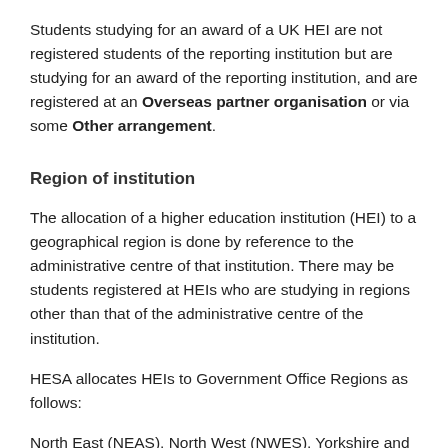Students studying for an award of a UK HEI are not registered students of the reporting institution but are studying for an award of the reporting institution, and are registered at an Overseas partner organisation or via some Other arrangement.
Region of institution
The allocation of a higher education institution (HEI) to a geographical region is done by reference to the administrative centre of that institution. There may be students registered at HEIs who are studying in regions other than that of the administrative centre of the institution.
HESA allocates HEIs to Government Office Regions as follows:
North East (NEAS), North West (NWES), Yorkshire and The